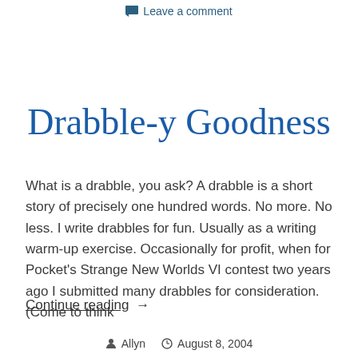Leave a comment
Drabble-y Goodness
What is a drabble, you ask? A drabble is a short story of precisely one hundred words. No more. No less. I write drabbles for fun. Usually as a writing warm-up exercise. Occasionally for profit, when for Pocket's Strange New Worlds VI contest two years ago I submitted many drabbles for consideration. (Come to think
Continue reading →
Allyn   August 8, 2004